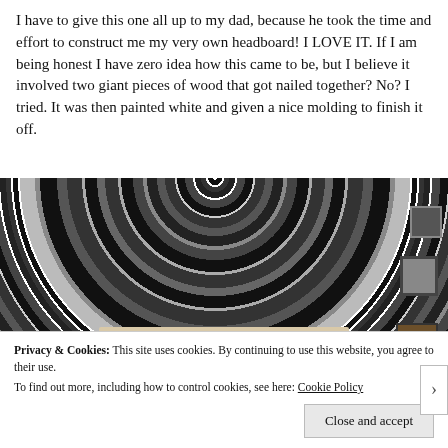I have to give this one all up to my dad, because he took the time and effort to construct me my very own headboard! I LOVE IT. If I am being honest I have zero idea how this came to be, but I believe it involved two giant pieces of wood that got nailed together? No? I tried. It was then painted white and given a nice molding to finish it off.
[Figure (photo): Black and white mandala/elephant tapestry hung on a wall above a beige headboard, with framed pictures visible on the right side of the wall.]
Privacy & Cookies: This site uses cookies. By continuing to use this website, you agree to their use.
To find out more, including how to control cookies, see here: Cookie Policy